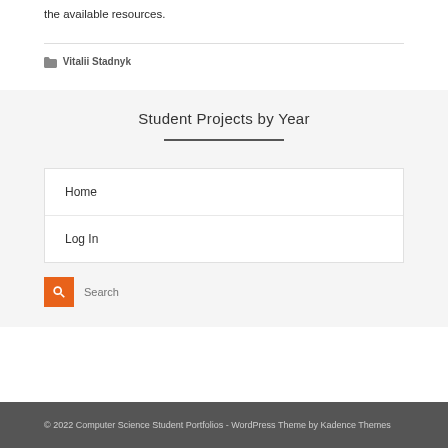the available resources.
🗂 Vitalii Stadnyk
Student Projects by Year
Home
Log In
© 2022 Computer Science Student Portfolios - WordPress Theme by Kadence Themes